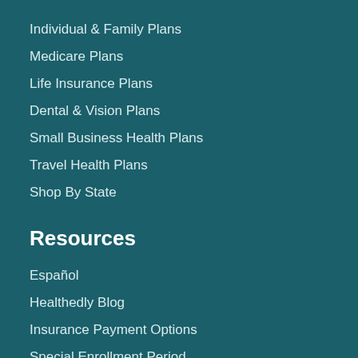Individual & Family Plans
Medicare Plans
Life Insurance Plans
Dental & Vision Plans
Small Business Health Plans
Travel Health Plans
Shop By State
Resources
Español
Healthedly Blog
Insurance Payment Options
Special Enrollment Period